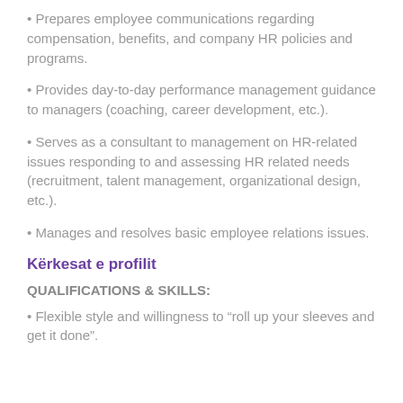• Prepares employee communications regarding compensation, benefits, and company HR policies and programs.
• Provides day-to-day performance management guidance to managers (coaching, career development, etc.).
• Serves as a consultant to management on HR-related issues responding to and assessing HR related needs (recruitment, talent management, organizational design, etc.).
• Manages and resolves basic employee relations issues.
Kërkesat e profilit
QUALIFICATIONS & SKILLS:
• Flexible style and willingness to “roll up your sleeves and get it done”.